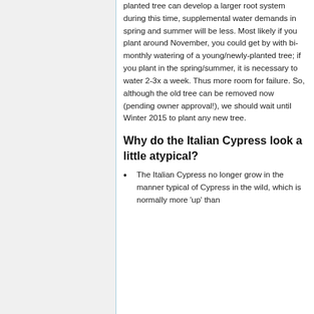planted tree can develop a larger root system during this time, supplemental water demands in spring and summer will be less. Most likely if you plant around November, you could get by with bi-monthly watering of a young/newly-planted tree; if you plant in the spring/summer, it is necessary to water 2-3x a week. Thus more room for failure. So, although the old tree can be removed now (pending owner approval!), we should wait until Winter 2015 to plant any new tree.
Why do the Italian Cypress look a little atypical?
The Italian Cypress no longer grow in the manner typical of Cypress in the wild, which is normally more 'up' than